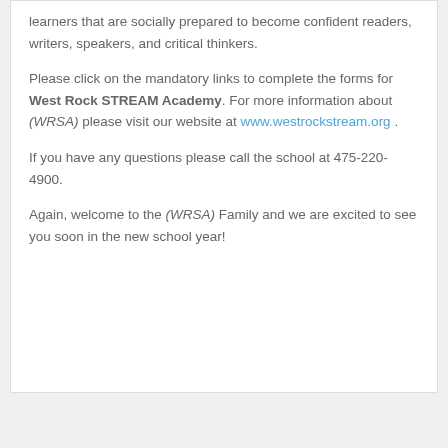learners that are socially prepared to become confident readers, writers, speakers, and critical thinkers.
Please click on the mandatory links to complete the forms for West Rock STREAM Academy. For more information about (WRSA) please visit our website at www.westrockstream.org .
If you have any questions please call the school at 475-220-4900.
Again, welcome to the (WRSA) Family and we are excited to see you soon in the new school year!